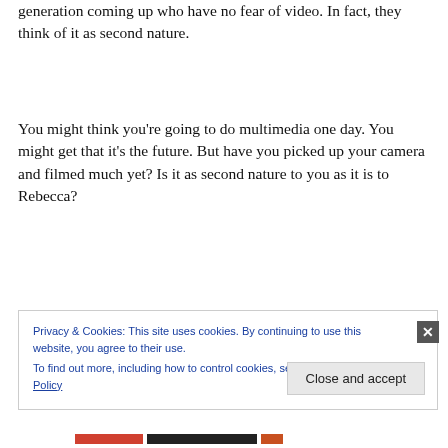generation coming up who have no fear of video. In fact, they think of it as second nature.
You might think you’re going to do multimedia one day. You might get that it’s the future. But have you picked up your camera and filmed much yet? Is it as second nature to you as it is to Rebecca?
Privacy & Cookies: This site uses cookies. By continuing to use this website, you agree to their use.
To find out more, including how to control cookies, see here: Cookie Policy
Close and accept